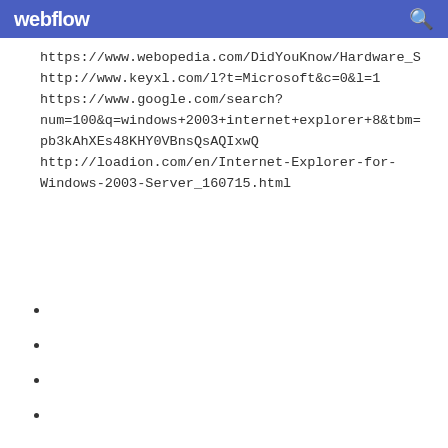webflow
https://www.webopedia.com/DidYouKnow/Hardware_S
http://www.keyxl.com/l?t=Microsoft&c=0&l=1
https://www.google.com/search?
num=100&q=windows+2003+internet+explorer+8&tbm=
pb3kAhXEs48KHY0VBnsQsAQIxwQ
http://loadion.com/en/Internet-Explorer-for-
Windows-2003-Server_160715.html